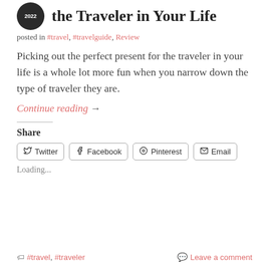the Traveler in Your Life
posted in #travel, #travelguide, Review
Picking out the perfect present for the traveler in your life is a whole lot more fun when you narrow down the type of traveler they are.
Continue reading →
Share
Twitter  Facebook  Pinterest  Email
Loading...
#travel, #traveler
Leave a comment